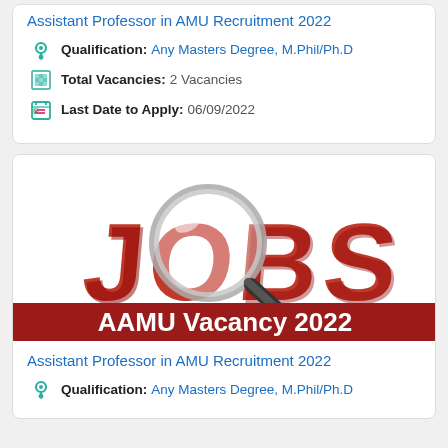Assistant Professor in AMU Recruitment 2022
Qualification: Any Masters Degree, M.Phil/Ph.D
Total Vacancies: 2 Vacancies
Last Date to Apply: 06/09/2022
[Figure (illustration): JOBS text in red 3D letters with a magnifying glass over the 'O', and a red banner at the bottom reading 'AAMU Vacancy 2022']
Assistant Professor in AMU Recruitment 2022
Qualification: Any Masters Degree, M.Phil/Ph.D